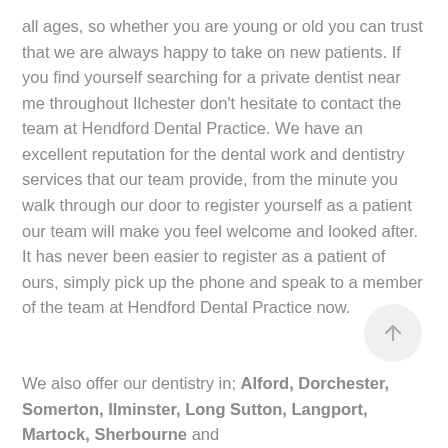all ages, so whether you are young or old you can trust that we are always happy to take on new patients. If you find yourself searching for a private dentist near me throughout Ilchester don't hesitate to contact the team at Hendford Dental Practice. We have an excellent reputation for the dental work and dentistry services that our team provide, from the minute you walk through our door to register yourself as a patient our team will make you feel welcome and looked after. It has never been easier to register as a patient of ours, simply pick up the phone and speak to a member of the team at Hendford Dental Practice now.
We also offer our dentistry in; Alford, Dorchester, Somerton, Ilminster, Long Sutton, Langport, Martock, Sherbourne and